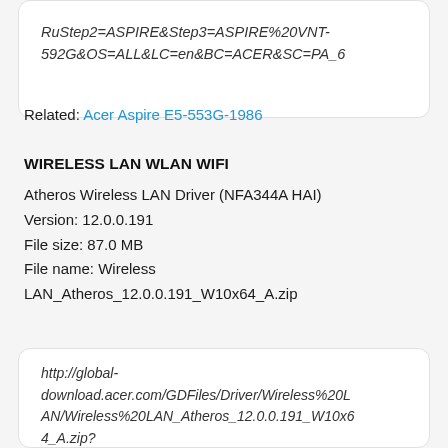RuStep2=ASPIRE&Step3=ASPIRE%20VNT-592G&OS=ALL&LC=en&BC=ACER&SC=PA_6
Related: Acer Aspire E5-553G-1986
WIRELESS LAN WLAN WIFI
Atheros Wireless LAN Driver (NFA344A HAI)
Version: 12.0.0.191
File size: 87.0 MB
File name: Wireless LAN_Atheros_12.0.0.191_W10x64_A.zip
http://global-download.acer.com/GDFiles/Driver/Wireless%20LAN/Wireless%20LAN_Atheros_12.0.0.191_W10x64_A.zip?acerid=635957034280463631&Step1=NOTEBOO